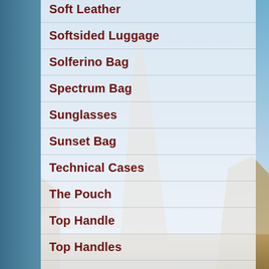Soft Leather
Softsided Luggage
Solferino Bag
Spectrum Bag
Sunglasses
Sunset Bag
Technical Cases
The Pouch
Top Handle
Top Handles
Tote Bags
Totes
Travel